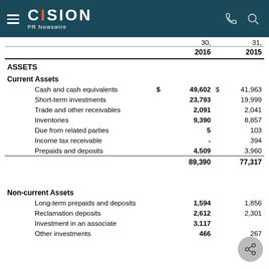CISION PR Newswire
|  |  | 30,
2016 |  | 31,
2015 |
| --- | --- | --- | --- | --- |
| ASSETS |  |  |  |  |
| Current Assets |  |  |  |  |
| Cash and cash equivalents | $ | 49,602 | $ | 41,963 |
| Short-term investments |  | 23,793 |  | 19,999 |
| Trade and other receivables |  | 2,091 |  | 2,041 |
| Inventories |  | 9,390 |  | 8,857 |
| Due from related parties |  | 5 |  | 103 |
| Income tax receivable |  | - |  | 394 |
| Prepaids and deposits |  | 4,509 |  | 3,960 |
|  |  | 89,390 |  | 77,317 |
| Non-current Assets |  |  |  |  |
| Long-term prepaids and deposits |  | 1,594 |  | 1,856 |
| Reclamation deposits |  | 2,612 |  | 2,301 |
| Investment in an associate |  | 3,117 |  |  |
| Other investments |  | 466 |  | 267 |